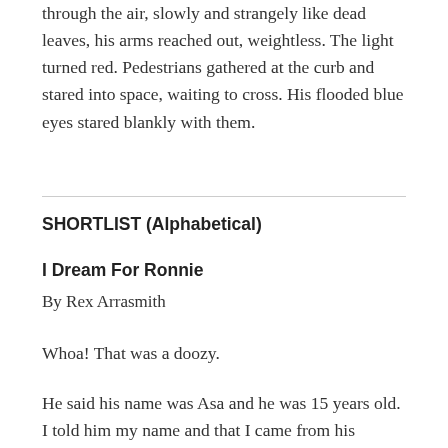through the air, slowly and strangely like dead leaves, his arms reached out, weightless. The light turned red. Pedestrians gathered at the curb and stared into space, waiting to cross. His flooded blue eyes stared blankly with them.
SHORTLIST (Alphabetical)
I Dream For Ronnie
By Rex Arrasmith
Whoa! That was a doozy.
He said his name was Asa and he was 15 years old. I told him my name and that I came from his